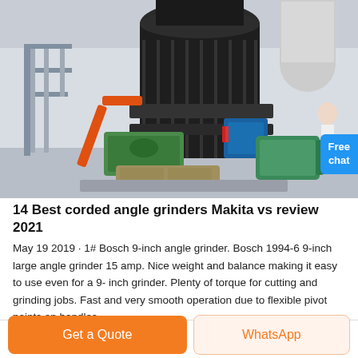[Figure (photo): Industrial angle grinder / grinding mill machinery in a factory setting. Large black cylindrical grinding machine with green auxiliary motors and orange structural elements, with ductwork and building structure visible in background.]
14 Best corded angle grinders Makita vs review 2021
May 19 2019 · 1# Bosch 9-inch angle grinder. Bosch 1994-6 9-inch large angle grinder 15 amp. Nice weight and balance making it easy to use even for a 9- inch grinder. Plenty of torque for cutting and grinding jobs. Fast and very smooth operation due to flexible pivot points on handles.